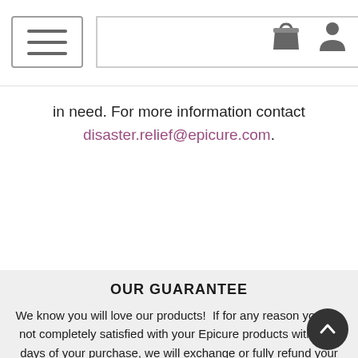Navigation bar with hamburger menu, search box, and icons
in need. For more information contact disaster.relief@epicure.com.
OUR GUARANTEE
We know you will love our products!  If for any reason you are not completely satisfied with your Epicure products within 90 days of your purchase, we will exchange or fully refund your purchase.
Please contact your Consultant or let our Customer Experience team help you. Or call us toll-free at +1